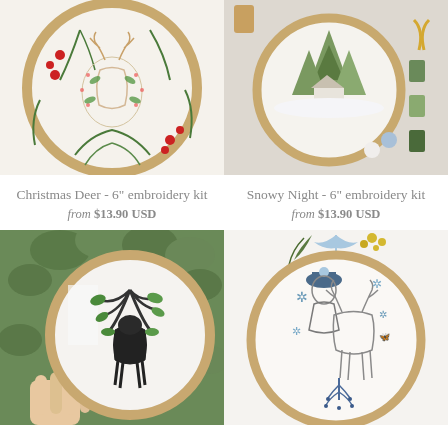[Figure (photo): Embroidery hoop with Christmas deer design surrounded by holly and berries]
[Figure (photo): Embroidery hoop with snowy night forest scene, thread spools and scissors around it]
Christmas Deer - 6" embroidery kit
from $13.90 USD
Snowy Night - 6" embroidery kit
from $13.90 USD
[Figure (photo): Hand holding embroidery hoop with black deer and green leaves design against ivy background]
[Figure (photo): Embroidery hoop with girl and deer winter scene with blue snowflakes, decorated with ribbons and sprigs]